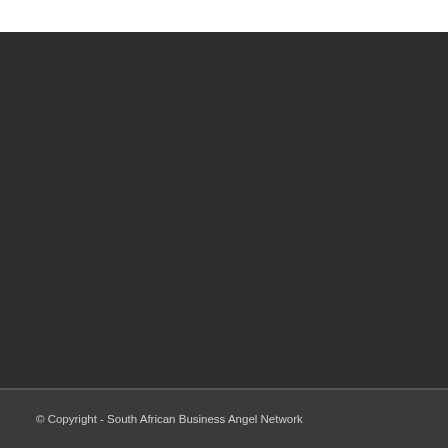© Copyright - South African Business Angel Network